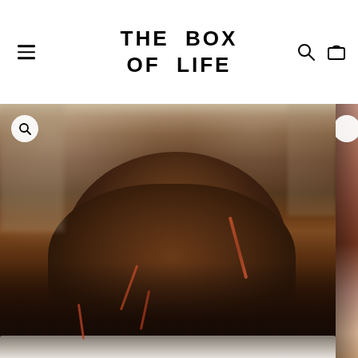THE BOX OF LIFE
[Figure (photo): Close-up photograph of a pile of dark compost soil with red earthworms crawling through it, in what appears to be a worm composting bin. The image is a product photo for 'The Box of Life' online store. A partial second image is visible on the right edge showing what appears to be more worms or compost material.]